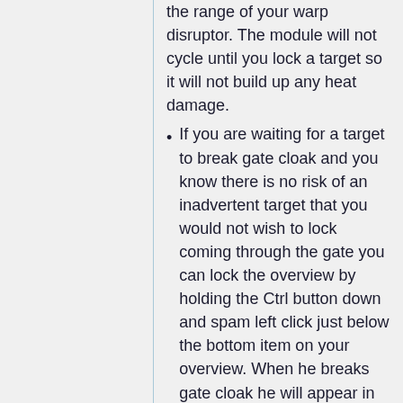the range of your warp disruptor. The module will not cycle until you lock a target so it will not build up any heat damage.
If you are waiting for a target to break gate cloak and you know there is no risk of an inadvertent target that you would not wish to lock coming through the gate you can lock the overview by holding the Ctrl button down and spam left click just below the bottom item on your overview. When he breaks gate cloak he will appear in the blank space where you are clicking and you will target him and then the warp disruptor will activate. This is the fastest method.
If there is a risk that a ship may come through that you do not wish to target and point then wait until it appears on